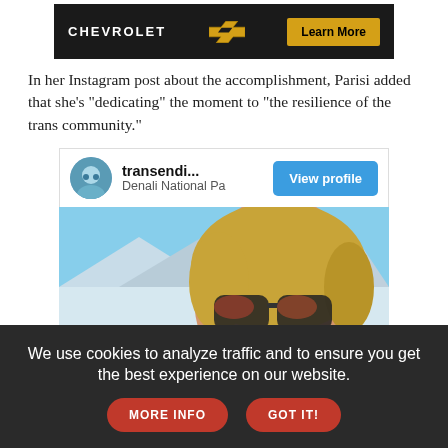[Figure (other): Chevrolet advertisement banner with logo, bowtie emblem, and 'Learn More' button on dark background]
In her Instagram post about the accomplishment, Parisi added that she's "dedicating" the moment to "the resilience of the trans community."
[Figure (screenshot): Instagram embed showing user 'transendi...' located at 'Denali National Pa' with a View profile button and a photo of a woman with sunglasses in a snowy mountain setting]
We use cookies to analyze traffic and to ensure you get the best experience on our website.
MORE INFO
GOT IT!